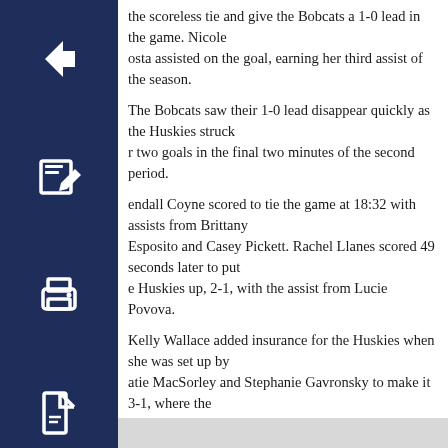[Figure (other): Four dark navy blue icon buttons stacked vertically on the left sidebar: back arrow, edit/pencil, print, and PDF document icons.]
the scoreless tie and give the Bobcats a 1-0 lead in the game. Nicole osta assisted on the goal, earning her third assist of the season.
The Bobcats saw their 1-0 lead disappear quickly as the Huskies struck r two goals in the final two minutes of the second period.
endall Coyne scored to tie the game at 18:32 with assists from Brittany Esposito and Casey Pickett. Rachel Llanes scored 49 seconds later to put e Huskies up, 2-1, with the assist from Lucie Povova.
Kelly Wallace added insurance for the Huskies when she was set up by atie MacSorley and Stephanie Gavronsky to make it 3-1, where the ad would stand up.
Freshman goaltender Chelsea Laden made her first career collegiate start for the Bobcats making 32 saves before she was pulled from the game following Northeastern’s third goal. Victoria Vigilanti finished the game in net making six saves in the final 14 minutes of play.
The Bobcats return to action this Friday when they travel to Boston College to play the Eagles at 2 p.m.